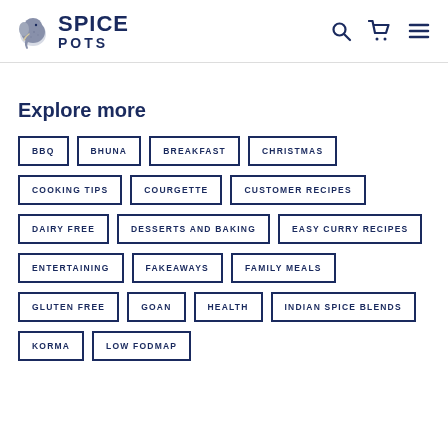Spice Pots
Explore more
BBQ
BHUNA
BREAKFAST
CHRISTMAS
COOKING TIPS
COURGETTE
CUSTOMER RECIPES
DAIRY FREE
DESSERTS AND BAKING
EASY CURRY RECIPES
ENTERTAINING
FAKEAWAYS
FAMILY MEALS
GLUTEN FREE
GOAN
HEALTH
INDIAN SPICE BLENDS
KORMA
LOW FODMAP